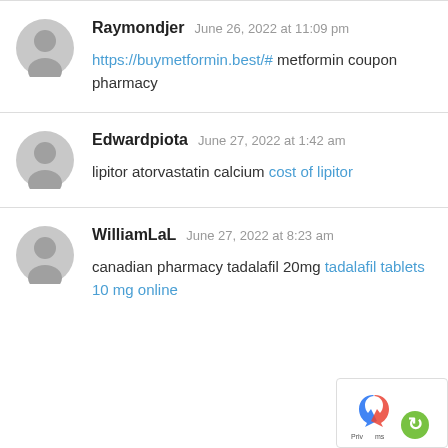Raymondjer  June 26, 2022 at 11:09 pm
https://buymetformin.best/# metformin coupon pharmacy
Edwardpiota  June 27, 2022 at 1:42 am
lipitor atorvastatin calcium cost of lipitor
WilliamLaL  June 27, 2022 at 8:23 am
canadian pharmacy tadalafil 20mg tadalafil tablets 10 mg online